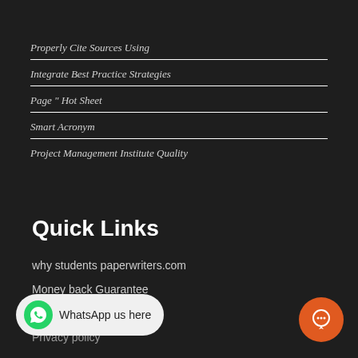Properly Cite Sources Using
Integrate Best Practice Strategies
Page " Hot Sheet
Smart Acronym
Project Management Institute Quality
Quick Links
why students paperwriters.com
Money back Guarantee
Cookie Policy
Privacy policy